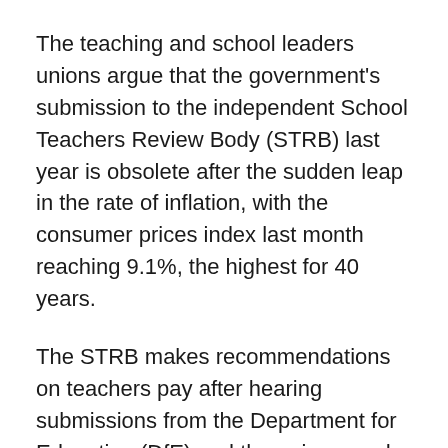The teaching and school leaders unions argue that the government's submission to the independent School Teachers Review Body (STRB) last year is obsolete after the sudden leap in the rate of inflation, with the consumer prices index last month reaching 9.1%, the highest for 40 years.
The STRB makes recommendations on teachers pay after hearing submissions from the Department for Education (DfE) and the unions, and is expected to report before the end of the school year next month.
In its submission in December, Zahawi asked the STRB to raise the starting salaries of new teachers to £30,000 – a Conservative